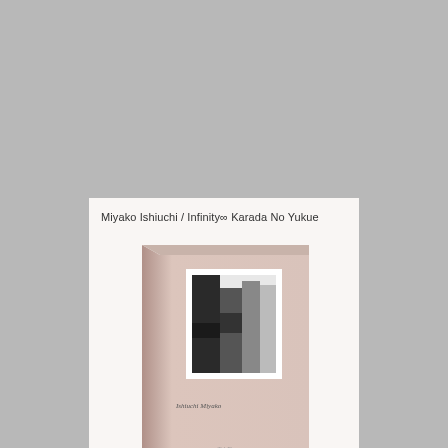Miyako Ishiuchi / Infinity∞ Karada No Yukue
[Figure (photo): A photograph of a softcover book with a pale pink/blush cover. The book has a black-and-white photograph inset on the upper portion of the cover showing close-up human body forms. Text on the lower left of the cover reads 'Ishiuchi Miyako'. The book is shown at a slight angle.]